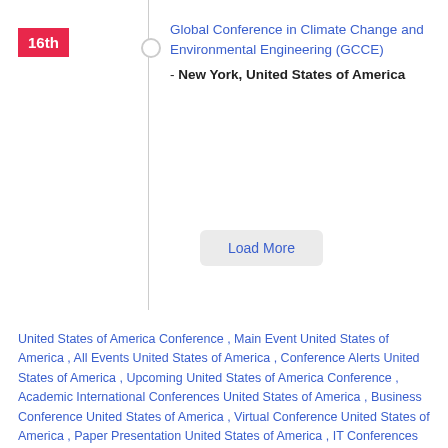16th
Global Conference in Climate Change and Environmental Engineering (GCCE) - New York, United States of America
Load More
United States of America Conference , Main Event United States of America , All Events United States of America , Conference Alerts United States of America , Upcoming United States of America Conference , Academic International Conferences United States of America , Business Conference United States of America , Virtual Conference United States of America , Paper Presentation United States of America , IT Conferences United States of America , Upcoming Top Conferences United States of America , All Upcoming Conferences United States of America , Academic Events in United States of America , Online Paper Presentation in International Conferences